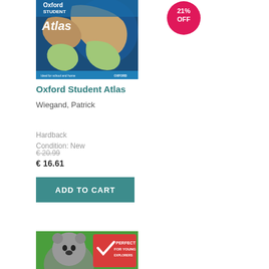[Figure (illustration): Oxford Student Atlas book cover showing a globe/map background with blue ocean and land masses, white text reading 'Oxford STUDENT Atlas', subtitle 'Ideal for school and home', Oxford logo at bottom right]
[Figure (infographic): Hot pink circular badge with white text '21% OFF']
Oxford Student Atlas
Wiegand, Patrick
Hardback
Condition: New
€ 20.99
€ 16.61
ADD TO CART
[Figure (illustration): Partial view of another book cover showing a koala and 'PERFECT FOR YOUNG...' badge]